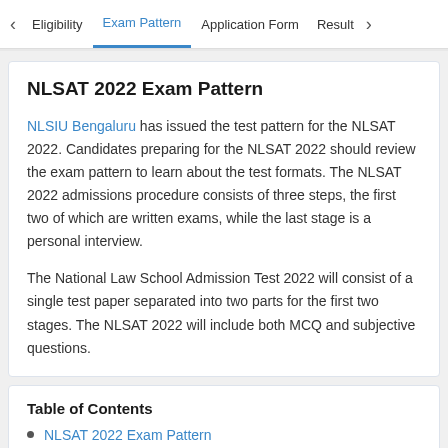< Eligibility | Exam Pattern | Application Form | Result >
NLSAT 2022 Exam Pattern
NLSIU Bengaluru has issued the test pattern for the NLSAT 2022. Candidates preparing for the NLSAT 2022 should review the exam pattern to learn about the test formats. The NLSAT 2022 admissions procedure consists of three steps, the first two of which are written exams, while the last stage is a personal interview.
The National Law School Admission Test 2022 will consist of a single test paper separated into two parts for the first two stages. The NLSAT 2022 will include both MCQ and subjective questions.
Table of Contents
NLSAT 2022 Exam Pattern